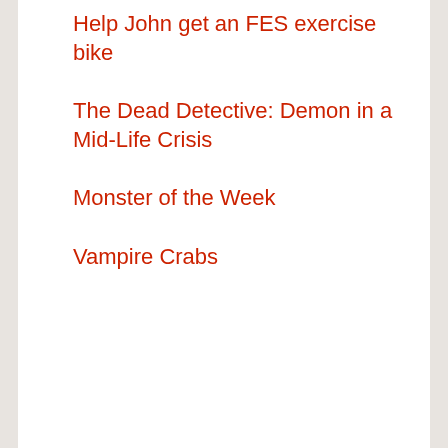Help John get an FES exercise bike
The Dead Detective: Demon in a Mid-Life Crisis
Monster of the Week
Vampire Crabs
Categories
Blog
Books
Gaming